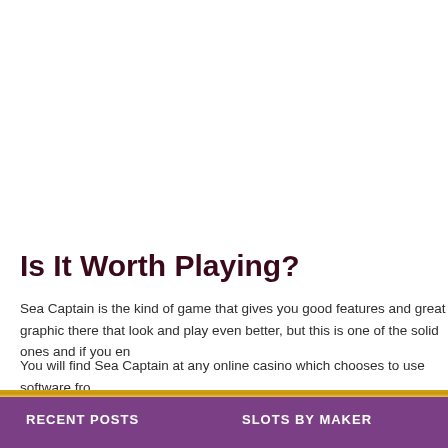Is It Worth Playing?
Sea Captain is the kind of game that gives you good features and great graphics there that look and play even better, but this is one of the solid ones and if you en
You will find Sea Captain at any online casino which chooses to use software fro
RECENT POSTS    SLOTS BY MAKER